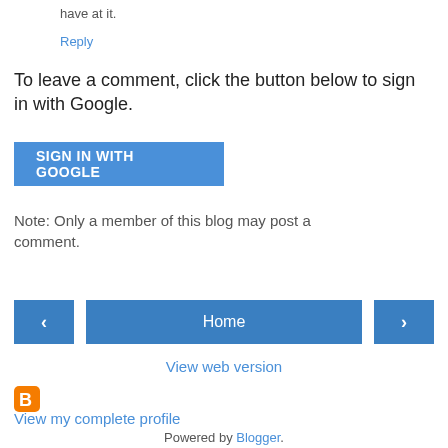have at it.
Reply
To leave a comment, click the button below to sign in with Google.
SIGN IN WITH GOOGLE
Note: Only a member of this blog may post a comment.
< Home > View web version
[Figure (logo): Blogger orange 'B' logo icon]
View my complete profile
Powered by Blogger.